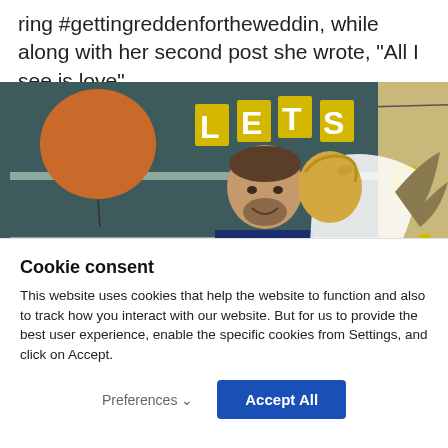ring #gettingreddenfortheweddin, while along with her second post she wrote, “All I see is love”.
[Figure (photo): A man and a woman (bride with veil) standing in front of shelves with books and decorations. A banner reading 'LETS' (partially visible, continuing off-frame with 'PA') hangs above them. An orange/copper balloon is visible on the left.]
Cookie consent
This website uses cookies that help the website to function and also to track how you interact with our website. But for us to provide the best user experience, enable the specific cookies from Settings, and click on Accept.
Preferences ∨
Accept All